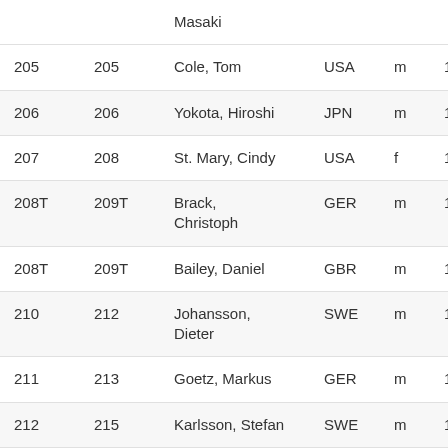|  |  | Masaki |  |  |  |
| 205 | 205 | Cole, Tom | USA | m | 124, |
| 206 | 206 | Yokota, Hiroshi | JPN | m | 122, |
| 207 | 208 | St. Mary, Cindy | USA | f | 120, |
| 208T | 209T | Brack, Christoph | GER | m | 120 |
| 208T | 209T | Bailey, Daniel | GBR | m | 120 |
| 210 | 212 | Johansson, Dieter | SWE | m | 119, |
| 211 | 213 | Goetz, Markus | GER | m | 119 |
| 212 | 215 | Karlsson, Stefan | SWE | m | 116, |
| 213 | 217 | Wassermann, Simon | GER | m | 114, |